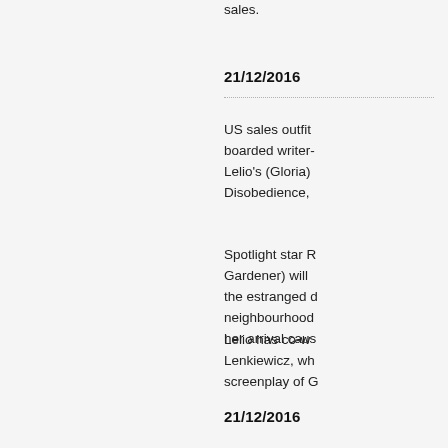sales.
21/12/2016
US sales outfit boarded writer-director Lelio's (Gloria) Disobedience,
Spotlight star R Gardener) will the estranged d neighbourhood her arrival caus
Lelio has co-wr Lenkiewicz, wh screenplay of G
21/12/2016